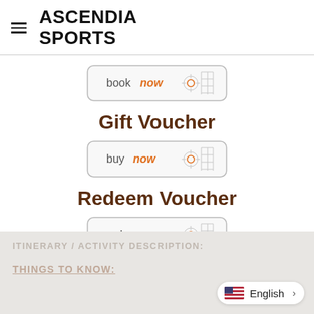ASCENDIA SPORTS
[Figure (screenshot): book now button with crosshair icon]
Gift Voucher
[Figure (screenshot): buy now button with crosshair icon]
Redeem Voucher
[Figure (screenshot): redeem button with crosshair icon]
ITINERARY / ACTIVITY DESCRIPTION:
THINGS TO KNOW: